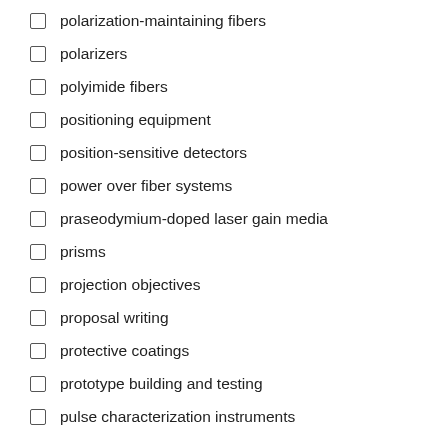polarization-maintaining fibers
polarizers
polyimide fibers
positioning equipment
position-sensitive detectors
power over fiber systems
praseodymium-doped laser gain media
prisms
projection objectives
proposal writing
protective coatings
prototype building and testing
pulse characterization instruments